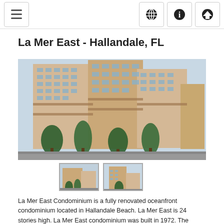Navigation bar with menu and icons
La Mer East - Hallandale, FL
[Figure (photo): Exterior photo of La Mer East condominium building, a tall multi-story beige building with balconies and palm trees in the foreground]
[Figure (photo): Thumbnail 1: Street-level view of La Mer East condominium]
[Figure (photo): Thumbnail 2: Aerial or angled view of La Mer East condominium]
La Mer East Condominium is a fully renovated oceanfront condominium located in Hallandale Beach. La Mer East is 24 stories high. La Mer East condominium was built in 1972. The